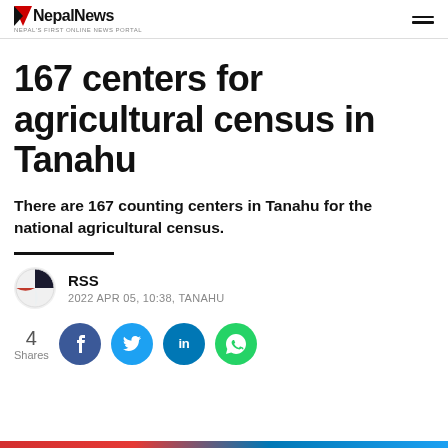NepalNews — NEPAL'S FIRST ONLINE NEWS PORTAL
167 centers for agricultural census in Tanahu
There are 167 counting centers in Tanahu for the national agricultural census.
RSS
2022 APR 05, 10:38, TANAHU
4 Shares